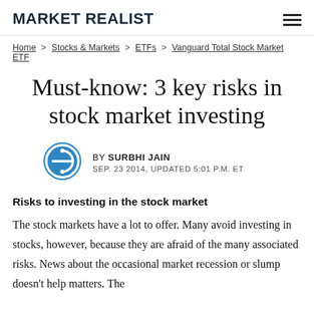MARKET REALIST
Home > Stocks & Markets > ETFs > Vanguard Total Stock Market ETF
Must-know: 3 key risks in stock market investing
BY SURBHI JAIN
SEP. 23 2014, UPDATED 5:01 P.M. ET
Risks to investing in the stock market
The stock markets have a lot to offer. Many avoid investing in stocks, however, because they are afraid of the many associated risks. News about the occasional market recession or slump doesn't help matters. The